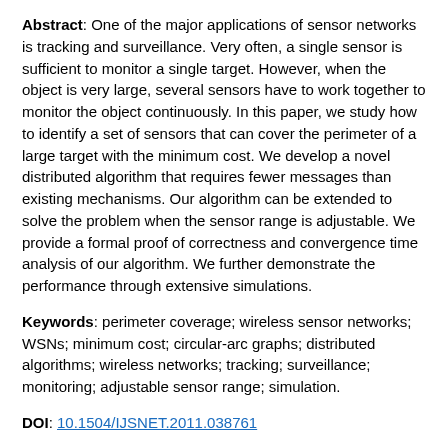Abstract: One of the major applications of sensor networks is tracking and surveillance. Very often, a single sensor is sufficient to monitor a single target. However, when the object is very large, several sensors have to work together to monitor the object continuously. In this paper, we study how to identify a set of sensors that can cover the perimeter of a large target with the minimum cost. We develop a novel distributed algorithm that requires fewer messages than existing mechanisms. Our algorithm can be extended to solve the problem when the sensor range is adjustable. We provide a formal proof of correctness and convergence time analysis of our algorithm. We further demonstrate the performance through extensive simulations.
Keywords: perimeter coverage; wireless sensor networks; WSNs; minimum cost; circular-arc graphs; distributed algorithms; wireless networks; tracking; surveillance; monitoring; adjustable sensor range; simulation.
DOI: 10.1504/IJSNET.2011.038761
International Journal of Sensor Networks, 2011 Vol.9 No.2, pp.76 - 88